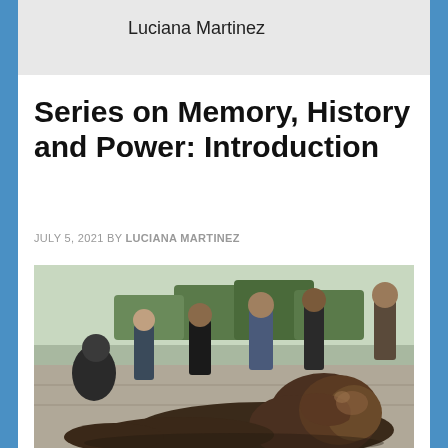Luciana Martinez
Series on Memory, History and Power: Introduction
JULY 5, 2021 BY LUCIANA MARTINEZ
[Figure (photo): A fallen bronze statue lying on the ground in the foreground, with a crowd of people standing in the background on a plaza or public space, trees visible in the distance.]